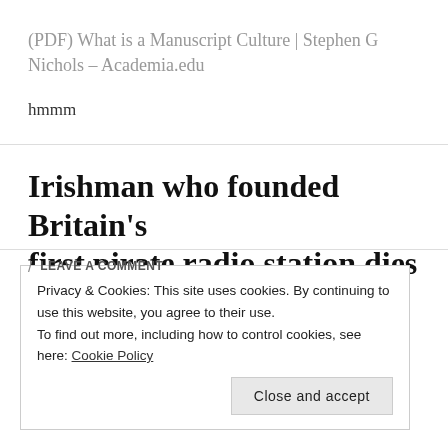(PDF) What is a Manuscript Culture | Stephen G Nichols – Academia.edu
hmmm
Irishman who founded Britain's first pirate radio station dies
Privacy & Cookies: This site uses cookies. By continuing to use this website, you agree to their use.
To find out more, including how to control cookies, see here: Cookie Policy
Close and accept
/ LEAVE A COMMENT